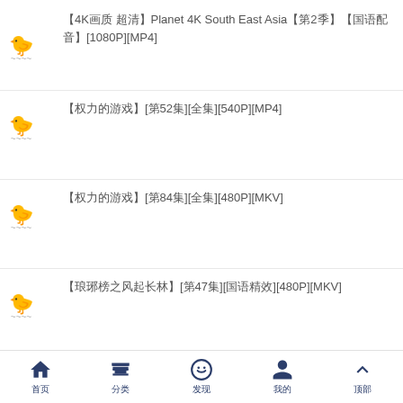【4K画质 超清】Planet 4K South East Asia【第2季】【国语配音】[1080P][MP4]
【权力的游戏】[第5季][全集][720P][MP4]
【权力的游戏】[第8季][全集][480P][MKV]
【琅琊榜之风起长林】[第47集][国语精效][480P][MKV]
【苍兰诀】[第25集][国语/内嵌简繁/多国/中字][1080P][MKV]
首页  分类  发现  我的  顶部